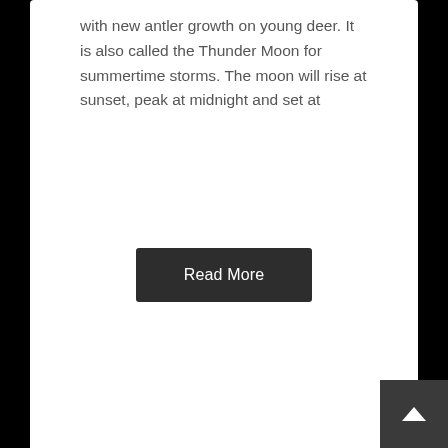with new antler growth on young deer. It is also called the Thunder Moon for summertime storms. The moon will rise at sunset, peak at midnight and set at
Read More
Strawberry Lunar Eclipse in Sagittarius ♐ June 5, 2020